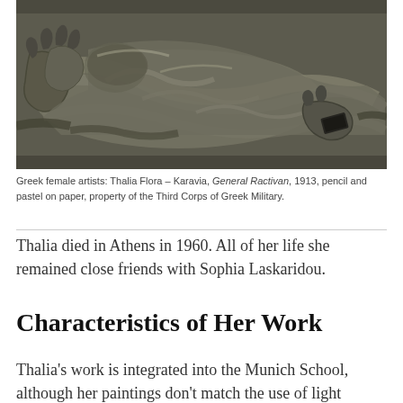[Figure (illustration): Pencil and pastel sketch of a reclining figure (General Ractivan), rendered in charcoal-grey tones with loose gestural strokes, by Thalia Flora-Karavia, 1913.]
Greek female artists: Thalia Flora – Karavia, General Ractivan, 1913, pencil and pastel on paper, property of the Third Corps of Greek Military.
Thalia died in Athens in 1960. All of her life she remained close friends with Sophia Laskaridou.
Characteristics of Her Work
Thalia's work is integrated into the Munich School, although her paintings don't match the use of light